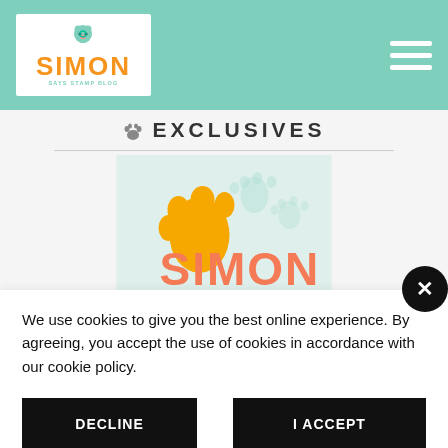Simon Says Stamp Blog
🐾 EXCLUSIVES
[Figure (logo): Simon Says Stamp logo with orange paw print and SIMON text on mint green/white background]
We use cookies to give you the best online experience. By agreeing, you accept the use of cookies in accordance with our cookie policy.
DECLINE
I ACCEPT
Privacy Policy   Cookie Policy
[Figure (photo): Product photo strip at bottom showing Distress and other stamp products]